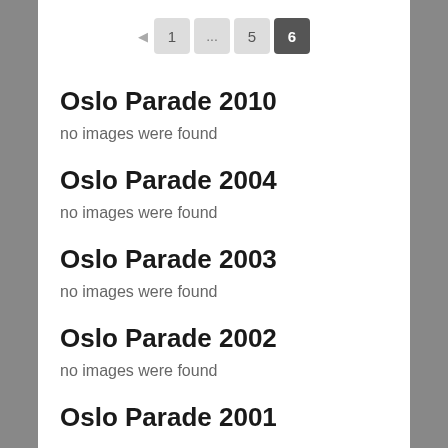Pagination: ◄ 1 ... 5 6
Oslo Parade 2010
no images were found
Oslo Parade 2004
no images were found
Oslo Parade 2003
no images were found
Oslo Parade 2002
no images were found
Oslo Parade 2001